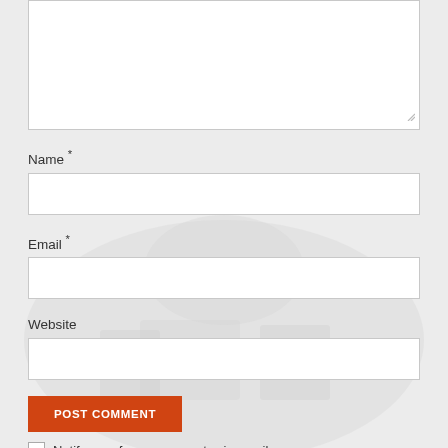[Figure (screenshot): Comment form textarea (partially visible at top), Name field, Email field, Website field, Post Comment button, and Notify me checkbox on a light grey background with a faint watermark image.]
Name *
Email *
Website
POST COMMENT
Notify me of new comments via email.